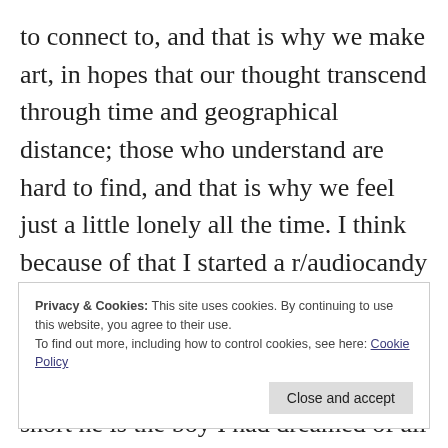to connect to, and that is why we make art, in hopes that our thought transcend through time and geographical distance; those who understand are hard to find, and that is why we feel just a little lonely all the time. I think because of that I started a r/audiocandy account, and also I want to be a part of this community that taught me how to speak kind things and
Privacy & Cookies: This site uses cookies. By continuing to use this website, you agree to their use.
To find out more, including how to control cookies, see here: Cookie Policy
short he is the boy I had dreamed of all